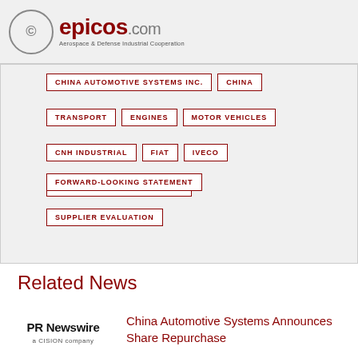epicos.com — Aerospace & Defense Industrial Cooperation
CHINA AUTOMOTIVE SYSTEMS INC.
CHINA
TRANSPORT
ENGINES
MOTOR VEHICLES
CNH INDUSTRIAL
FIAT
IVECO
CHINA AUTOMOTIVE SYSTEMS
FORWARD-LOOKING STATEMENT
SUPPLIER EVALUATION
Related News
China Automotive Systems Announces Share Repurchase
[Figure (logo): PR Newswire a CISION company logo]